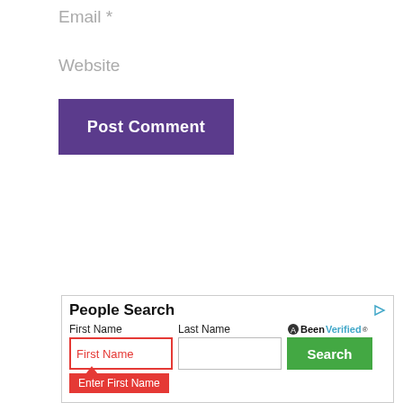Email *
Website
Post Comment
[Figure (screenshot): Advertisement widget for BeenVerified People Search with First Name and Last Name input fields, a Search button, and an error tooltip saying 'Enter First Name']